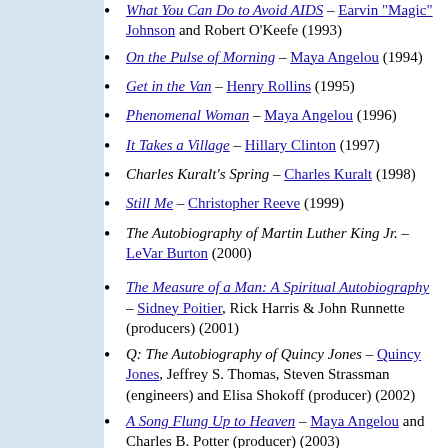What You Can Do to Avoid AIDS – Earvin "Magic" Johnson and Robert O'Keefe (1993)
On the Pulse of Morning – Maya Angelou (1994)
Get in the Van – Henry Rollins (1995)
Phenomenal Woman – Maya Angelou (1996)
It Takes a Village – Hillary Clinton (1997)
Charles Kuralt's Spring – Charles Kuralt (1998)
Still Me – Christopher Reeve (1999)
The Autobiography of Martin Luther King Jr. – LeVar Burton (2000)
The Measure of a Man: A Spiritual Autobiography – Sidney Poitier, Rick Harris & John Runnette (producers) (2001)
Q: The Autobiography of Quincy Jones – Quincy Jones, Jeffrey S. Thomas, Steven Strassman (engineers) and Elisa Shokoff (producer) (2002)
A Song Flung Up to Heaven – Maya Angelou and Charles B. Potter (producer) (2003)
Lions and the Living Lions Who Tell Th...